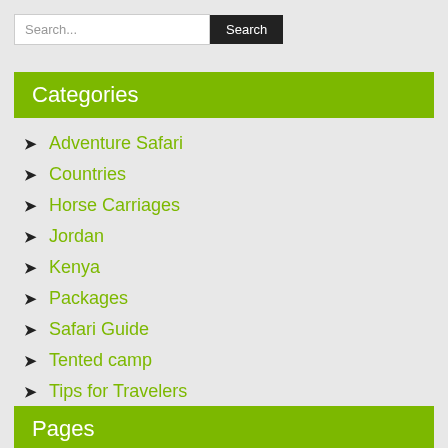Search...
Categories
Adventure Safari
Countries
Horse Carriages
Jordan
Kenya
Packages
Safari Guide
Tented camp
Tips for Travelers
Travel Agency
Pages